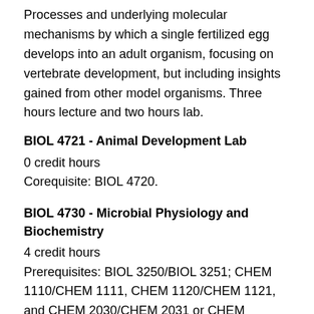Processes and underlying molecular mechanisms by which a single fertilized egg develops into an adult organism, focusing on vertebrate development, but including insights gained from other model organisms. Three hours lecture and two hours lab.
BIOL 4721 - Animal Development Lab
0 credit hours
Corequisite: BIOL 4720.
BIOL 4730 - Microbial Physiology and Biochemistry
4 credit hours
Prerequisites: BIOL 3250/BIOL 3251; CHEM 1110/CHEM 1111, CHEM 1120/CHEM 1121, and CHEM 2030/CHEM 2031 or CHEM 3010/CHEM 3011. Survey of the physiology and biochemistry of prokaryotic and eukaryotic microorganisms. Six hours